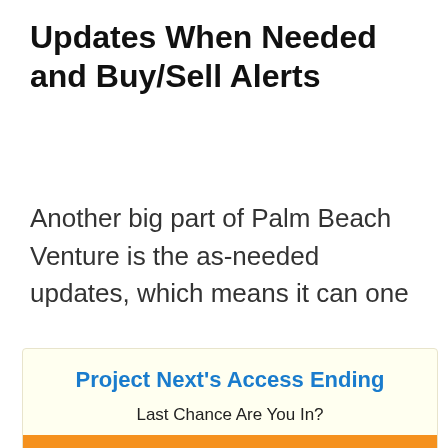Updates When Needed and Buy/Sell Alerts
Another big part of Palm Beach Venture is the as-needed updates, which means it can one
Project Next's Access Ending
Last Chance Are You In?
Click Here to Join